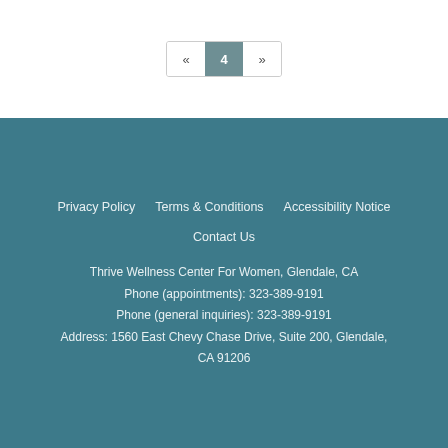« 4 »
Privacy Policy   Terms & Conditions   Accessibility Notice
Contact Us
Thrive Wellness Center For Women, Glendale, CA
Phone (appointments): 323-389-9191
Phone (general inquiries): 323-389-9191
Address: 1560 East Chevy Chase Drive, Suite 200, Glendale, CA 91206